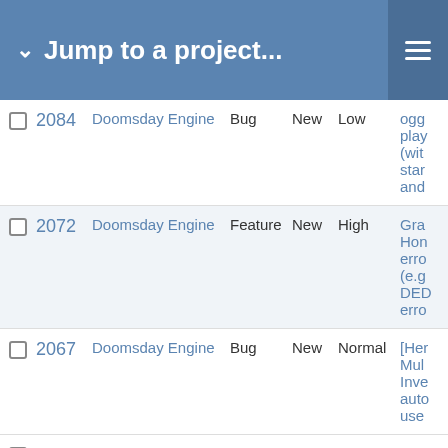Jump to a project...
|  | ID | Project | Type | Status | Priority | Description |
| --- | --- | --- | --- | --- | --- | --- |
|  | 2084 | Doomsday Engine | Bug | New | Low | ogg play (wit star and |
|  | 2072 | Doomsday Engine | Feature | New | High | Gra Hon erro (e.g DED erro |
|  | 2067 | Doomsday Engine | Bug | New | Normal | [Her Mul Inve auto use |
|  | 2066 | Doomsday Engine | Bug | New | High | [Her Mul Lich doe |
|  | 2065 | Doomsday Engine | Bug | New | Normal | [Her Mul Win |